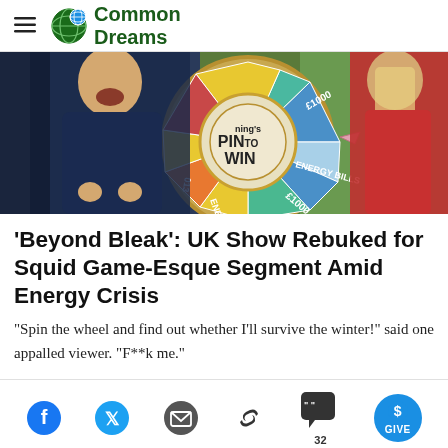Common Dreams
[Figure (photo): Two TV show hosts standing in front of a colorful spinning wheel with segments labeled 'ENERGY BILLS', '£1000', 'ENERGY BILLS', '£1000', and a sign reading 'PIN to WIN'. The male host in a dark shirt is laughing, and the female host in a red dress stands to the right.]
'Beyond Bleak': UK Show Rebuked for Squid Game-Esque Segment Amid Energy Crisis
"Spin the wheel and find out whether I'll survive the winter!" said one appalled viewer. "F**k me."